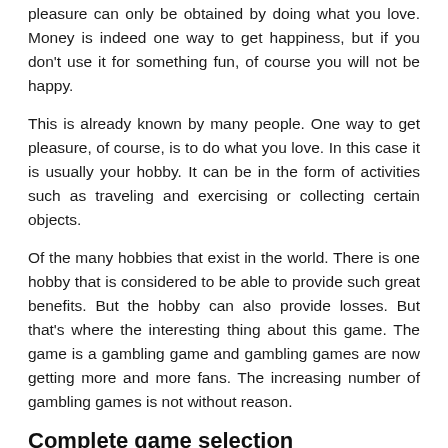pleasure can only be obtained by doing what you love. Money is indeed one way to get happiness, but if you don't use it for something fun, of course you will not be happy.
This is already known by many people. One way to get pleasure, of course, is to do what you love. In this case it is usually your hobby. It can be in the form of activities such as traveling and exercising or collecting certain objects.
Of the many hobbies that exist in the world. There is one hobby that is considered to be able to provide such great benefits. But the hobby can also provide losses. But that’s where the interesting thing about this game. The game is a gambling game and gambling games are now getting more and more fans. The increasing number of gambling games is not without reason.
Complete game selection
Indeed, there are many reasons that you will find if you